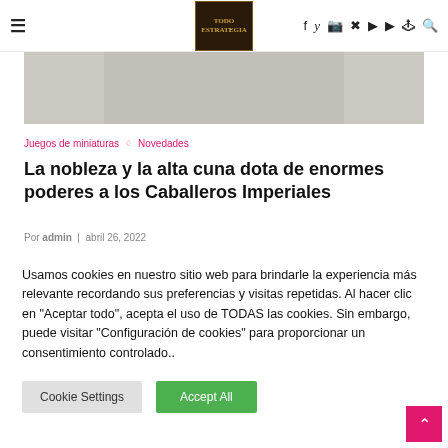Todo Estrategia — site header with hamburger menu, logo, social icons (facebook, twitter, instagram, pinterest, youtube, twitch, steam, search)
[Figure (photo): Partial hero image showing a fantasy/miniature game scene, appears grey/washed out]
Juegos de miniaturas ◇ Novedades
La nobleza y la alta cuna dota de enormes poderes a los Caballeros Imperiales
Por admin  |  abril 26, 2022
Usamos cookies en nuestro sitio web para brindarle la experiencia más relevante recordando sus preferencias y visitas repetidas. Al hacer clic en "Aceptar todo", acepta el uso de TODAS las cookies. Sin embargo, puede visitar "Configuración de cookies" para proporcionar un consentimiento controlado..
Cookie Settings  |  Accept All